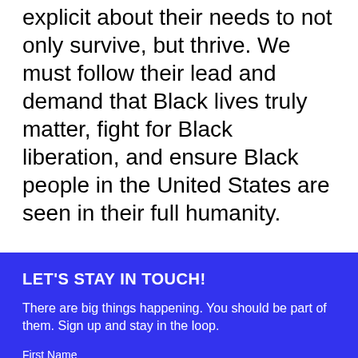explicit about their needs to not only survive, but thrive. We must follow their lead and demand that Black lives truly matter, fight for Black liberation, and ensure Black people in the United States are seen in their full humanity.
LET'S STAY IN TOUCH!
There are big things happening. You should be part of them. Sign up and stay in the loop.
First Name